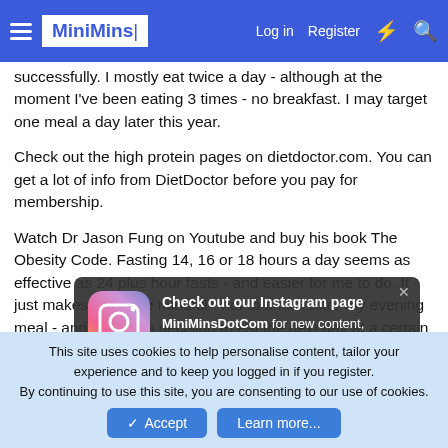MiniMins | Log in | Register
successfully. I mostly eat twice a day - although at the moment I've been eating 3 times - no breakfast. I may target one meal a day later this year.
Check out the high protein pages on dietdoctor.com. You can get a lot of info from DietDoctor before you pay for membership.
Watch Dr Jason Fung on Youtube and buy his book The Obesity Code. Fasting 14, 16 or 18 hours a day seems as effective as 24 plus hour fasts - and easier for me to do. It just makes me more mindful - not to snack after my evening meal - and making a decision to eat the next day at a certain time - not clockwork breakfast because of the morning.
[Figure (screenshot): Instagram popup notification: Check out our Instagram page MiniMinsDotCom for new content, recipies, ideas and motivation!]
I also strongly recommend www.ketofitnessclub.com and on FB
This site uses cookies to help personalise content, tailor your experience and to keep you logged in if you register. By continuing to use this site, you are consenting to our use of cookies.